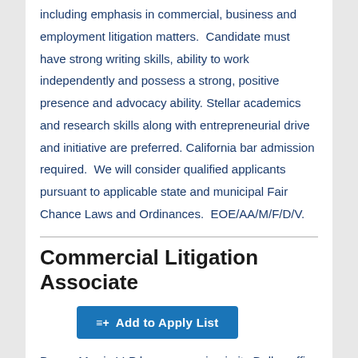including emphasis in commercial, business and employment litigation matters.  Candidate must have strong writing skills, ability to work independently and possess a strong, positive presence and advocacy ability. Stellar academics and research skills along with entrepreneurial drive and initiative are preferred. California bar admission required.  We will consider qualified applicants pursuant to applicable state and municipal Fair Chance Laws and Ordinances.  EOE/AA/M/F/D/V.
Commercial Litigation Associate
≡+ Add to Apply List
Duane Morris LLP has an opening in its Dallas office for litigation associate to join its growing Trial Practice Group. The ideal candidate will have 5-7 years of experience in